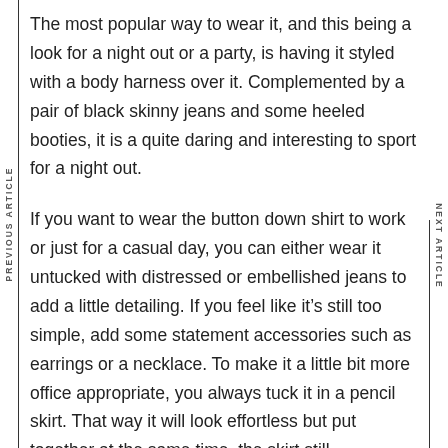The most popular way to wear it, and this being a look for a night out or a party, is having it styled with a body harness over it. Complemented by a pair of black skinny jeans and some heeled booties, it is a quite daring and interesting to sport for a night out.
If you want to wear the button down shirt to work or just for a casual day, you can either wear it untucked with distressed or embellished jeans to add a little detailing. If you feel like it’s still too simple, add some statement accessories such as earrings or a necklace. To make it a little bit more office appropriate, you always tuck it in a pencil skirt. That way it will look effortless but put together at the same time, the skirt still accentuating your waist and pulling the look together.
PREVIOUS ARTICLE
NEXT ARTICLE